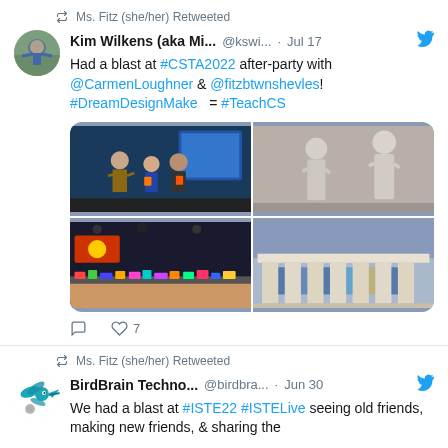Ms. Fitz (she/her) Retweeted
Kim Wilkens (aka Mi... @kswi... · Jul 17
Had a blast at #CSTA2022 after-party with @CarmenLoughner & @fitzbtwnshevles! #DreamDesignMake = #TeachCS
[Figure (photo): 2x2 grid of four photos from CSTA2022 after-party event]
7 likes
Ms. Fitz (she/her) Retweeted
BirdBrain Techno... @birdbra... · Jun 30
We had a blast at #ISTE22 #ISTELive seeing old friends, making new friends, & sharing the